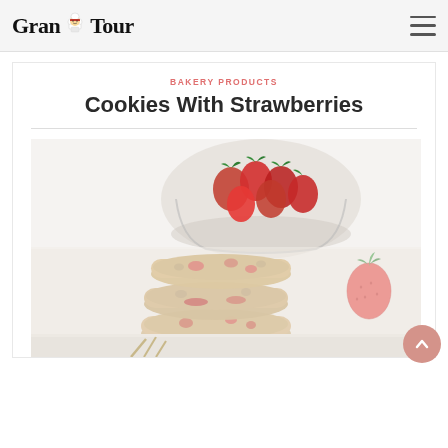Grand Tour
BAKERY PRODUCTS
Cookies With Strawberries
[Figure (photo): Stack of strawberry cookies on a white surface with a glass bowl of fresh strawberries and a single strawberry in the background]